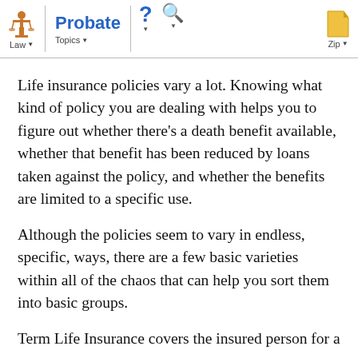Law | Probate Topics | ? | Search | Zip
Life insurance policies vary a lot. Knowing what kind of policy you are dealing with helps you to figure out whether there's a death benefit available, whether that benefit has been reduced by loans taken against the policy, and whether the benefits are limited to a specific use.
Although the policies seem to vary in endless, specific, ways, there are a few basic varieties within all of the chaos that can help you sort them into basic groups.
Term Life Insurance covers the insured person for a